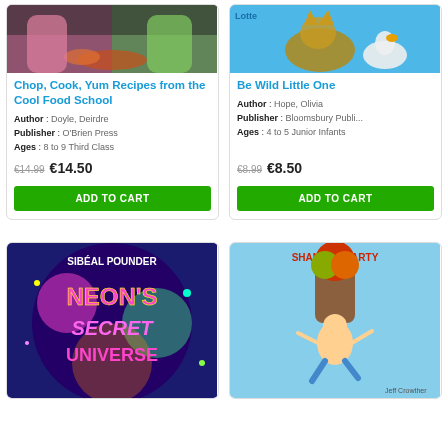[Figure (photo): Book cover: Chop, Cook, Yum Recipes from the Cool Food School - children cooking photo]
Chop, Cook, Yum Recipes from the Cool Food School
Author : Doyle, Deirdre
Publisher : O'Brien Press
Ages : 8 to 9 Third Class
€14.99  €14.50
ADD TO CART
[Figure (photo): Book cover: Be Wild Little One - cat and goose illustration]
Be Wild Little One
Author : Hope, Olivia
Publisher : Bloomsbury Publi...
Ages : 4 to 5 Junior Infants
€8.99  €8.50
ADD TO CART
[Figure (photo): Book cover: Neon's Secret Universe by Sibéal Pounder - colorful neon text cover]
[Figure (photo): Book cover: Shane Hegarty book - illustrated children's book cover]